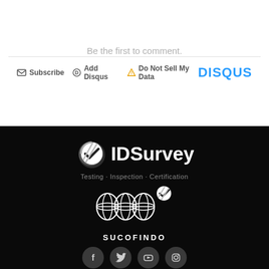Be the first to comment.
Subscribe  Add Disqus  Do Not Sell My Data   DISQUS
[Figure (logo): IDSurvey logo with checkmark icon and tagline 'Testing · Inspection · Certification']
[Figure (logo): SUCOFINDO logo with globe icon and checkmark]
[Figure (other): Social media icons: Facebook, Twitter, YouTube, Instagram]